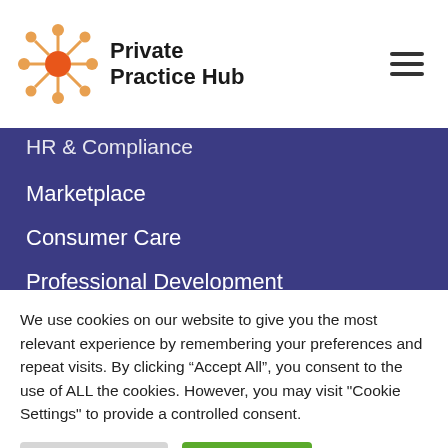Private Practice Hub
HR & Compliance
Marketplace
Consumer Care
Professional Development
Sales & Marketing
Practice Management
Consumers
We use cookies on our website to give you the most relevant experience by remembering your preferences and repeat visits. By clicking “Accept All”, you consent to the use of ALL the cookies. However, you may visit "Cookie Settings" to provide a controlled consent.
Cookie Settings | Accept All